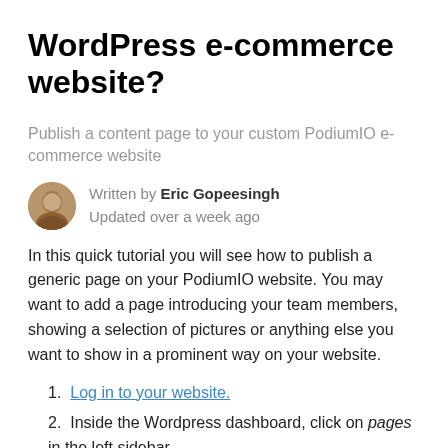WordPress e-commerce website?
Publish a content page to your custom PodiumIO e-commerce website
Written by Eric Gopeesingh
Updated over a week ago
In this quick tutorial you will see how to publish a generic page on your PodiumIO website. You may want to add a page introducing your team members, showing a selection of pictures or anything else you want to show in a prominent way on your website.
Log in to your website.
Inside the Wordpress dashboard, click on pages in the left sidebar.
On the page tab, you should see a table with all of